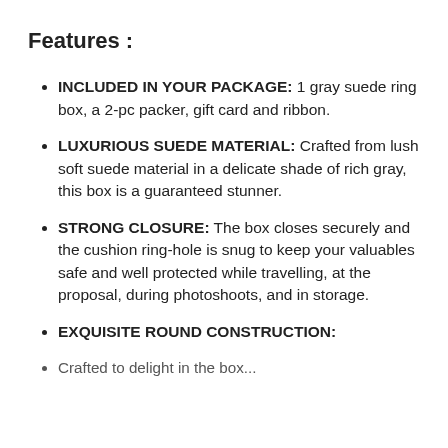Features :
INCLUDED IN YOUR PACKAGE: 1 gray suede ring box, a 2-pc packer, gift card and ribbon.
LUXURIOUS SUEDE MATERIAL: Crafted from lush soft suede material in a delicate shade of rich gray, this box is a guaranteed stunner.
STRONG CLOSURE: The box closes securely and the cushion ring-hole is snug to keep your valuables safe and well protected while travelling, at the proposal, during photoshoots, and in storage.
EXQUISITE ROUND CONSTRUCTION:
Crafted to delight in the box...